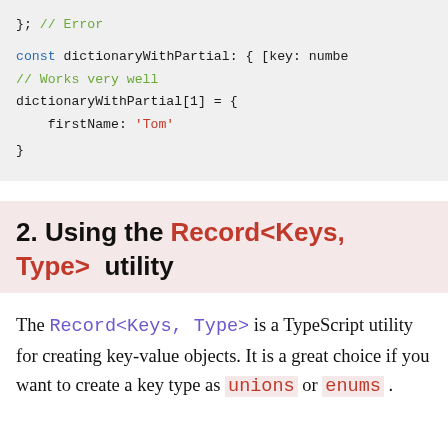[Figure (screenshot): Code block showing TypeScript code with dictionaryWithPartial variable assignment. Contains a green comment '// Works very well', blue keyword 'const', and a red string 'Tom'.]
2. Using the Record<Keys, Type> utility
The Record<Keys, Type> is a TypeScript utility for creating key-value objects. It is a great choice if you want to create a key type as unions or enums.